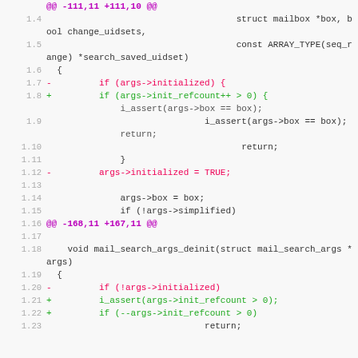[Figure (screenshot): Diff/patch view of source code showing changes to mail search args initialization logic, with line numbers, removed lines in red/pink, added lines in green, and hunk headers in purple.]